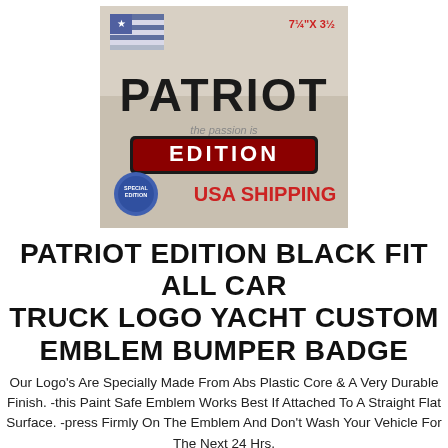[Figure (photo): Product photo of a Patriot Edition car emblem badge showing 'PATRIOT EDITION' text with USA flag and 'USA SHIPPING' label, dark background with red and white text]
PATRIOT EDITION BLACK FIT ALL CAR TRUCK LOGO YACHT CUSTOM EMBLEM BUMPER BADGE
Our Logo's Are Specially Made From Abs Plastic Core & A Very Durable Finish. -this Paint Safe Emblem Works Best If Attached To A Straight Flat Surface. -press Firmly On The Emblem And Don't Wash Your Vehicle For The Next 24 Hrs.